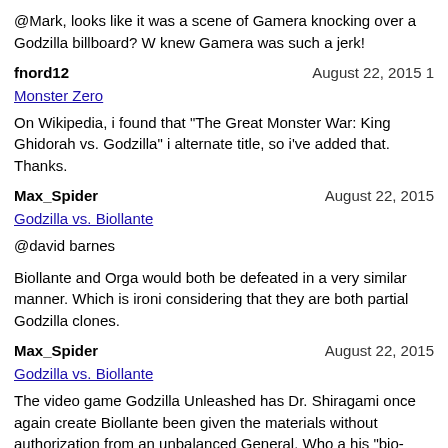@Mark, looks like it was a scene of Gamera knocking over a Godzilla billboard? W knew Gamera was such a jerk!
fnord12 — August 22, 2015 1
Monster Zero
On Wikipedia, i found that "The Great Monster War: King Ghidorah vs. Godzilla" i alternate title, so i've added that. Thanks.
Max_Spider — August 22, 2015
Godzilla vs. Biollante
@david barnes
Biollante and Orga would both be defeated in a very similar manner. Which is iron considering that they are both partial Godzilla clones.
Max_Spider — August 22, 2015
Godzilla vs. Biollante
The video game Godzilla Unleashed has Dr. Shiragami once again create Biollante been given the materials without authorization from an unbalanced General. Who a his "bio-weapon" is coming along, gets some jargon about a "foaming process" and "foaming process? I'm not paying to make Bio-Lattes!"
Sounds like a bit of a Toho-esque line, but judging by Dr. Shiragami's reaction, I'd l